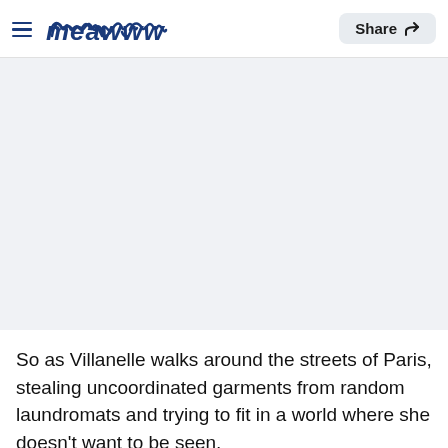meawww | Share
[Figure (other): Large light gray rectangular image/content area below the navigation header]
So as Villanelle walks around the streets of Paris, stealing uncoordinated garments from random laundromats and trying to fit in a world where she doesn't want to be seen,